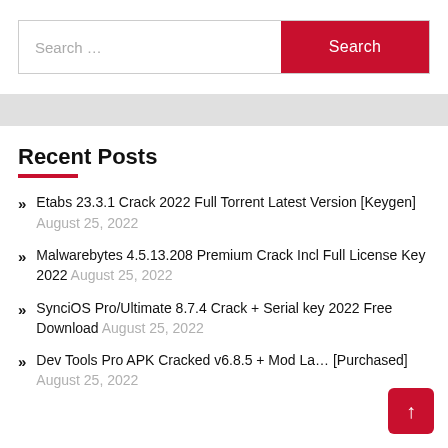[Figure (screenshot): Search bar with text input field showing 'Search ...' placeholder and a red Search button]
Recent Posts
Etabs 23.3.1 Crack 2022 Full Torrent Latest Version [Keygen] August 25, 2022
Malwarebytes 4.5.13.208 Premium Crack Incl Full License Key 2022 August 25, 2022
SynciOS Pro/Ultimate 8.7.4 Crack + Serial key 2022 Free Download August 25, 2022
Dev Tools Pro APK Cracked v6.8.5 + Mod La... [Purchased] August 25, 2022